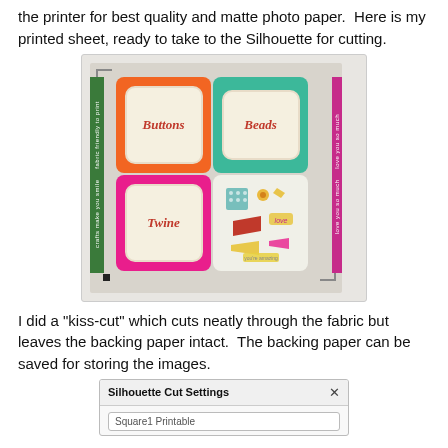the printer for best quality and matte photo paper. Here is my printed sheet, ready to take to the Silhouette for cutting.
[Figure (photo): A printed sheet of decorative fabric labels on a cutting mat, showing four quadrants: orange label with 'Buttons', teal label with 'Beads', pink label with 'Twine', and a light section with small decorative elements. Side banners and corner registration marks are visible.]
I did a "kiss-cut" which cuts neatly through the fabric but leaves the backing paper intact. The backing paper can be saved for storing the images.
[Figure (screenshot): A screenshot of a dialog box titled 'Silhouette Cut Settings' with an 'x' close button and an input field showing 'Square1 Printable'.]